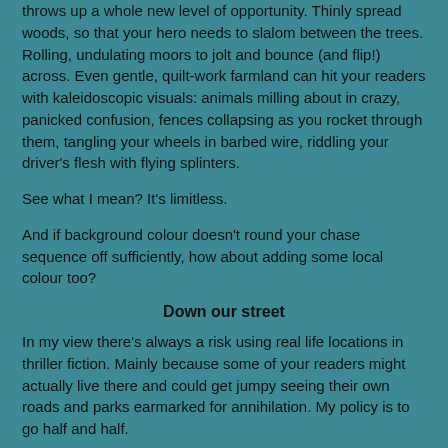throws up a whole new level of opportunity. Thinly spread woods, so that your hero needs to slalom between the trees. Rolling, undulating moors to jolt and bounce (and flip!) across. Even gentle, quilt-work farmland can hit your readers with kaleidoscopic visuals: animals milling about in crazy, panicked confusion, fences collapsing as you rocket through them, tangling your wheels in barbed wire, riddling your driver's flesh with flying splinters.
See what I mean? It's limitless.
And if background colour doesn't round your chase sequence off sufficiently, how about adding some local colour too?
Down our street
In my view there's always a risk using real life locations in thriller fiction. Mainly because some of your readers might actually live there and could get jumpy seeing their own roads and parks earmarked for annihilation. My policy is to go half and half.